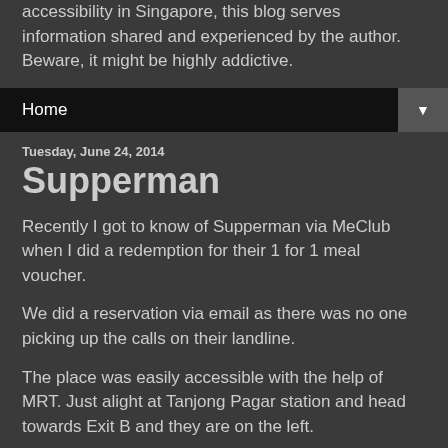accessibility in Singapore, this blog serves information shared and experienced by the author. Beware, it might be highly addictive.
Home ▼
Tuesday, June 24, 2014
Supperman
Recently I got to know of Supperman via MeClub when I did a redemption for their 1 for 1 meal voucher.
We did a reservation via email as there was no one picking up the calls on their landline.
The place was easily accessible with the help of MRT. Just alight at Tanjong Pagar station and head towards Exit B and they are on the left.
Coincidentally when I visit, they were closed for private event, nevertheless, my reservation was still valid